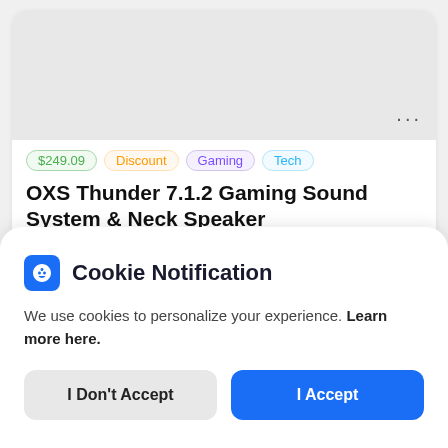[Figure (screenshot): Gray image placeholder area with three dots menu icon in bottom right corner]
$249.09 | Discount | Gaming | Tech
OXS Thunder 7.1.2 Gaming Sound System & Neck Speaker
15 hours ago by Genevieve
Cookie Notification
We use cookies to personalize your experience. Learn more here.
I Don't Accept
I Accept